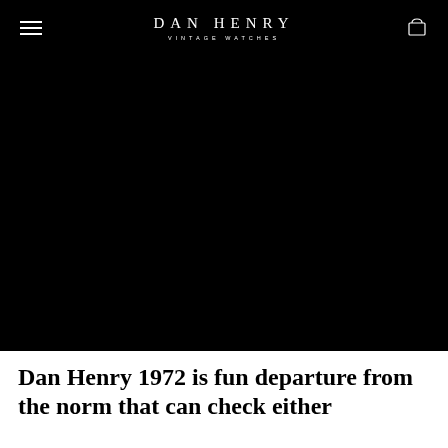DAN HENRY VINTAGE WATCHES
[Figure (photo): Large black hero image area, appears to show a dark product or lifestyle photo that is mostly black/dark.]
Dan Henry 1972 is fun departure from the norm that can check either